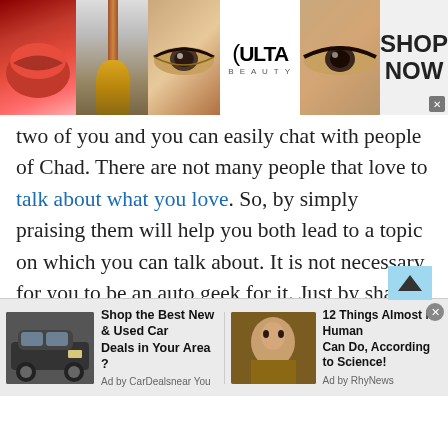[Figure (other): Advertisement banner for ULTA Beauty featuring makeup images (lips, brush, eyes, ULTA logo) and SHOP NOW button]
two of you and you can easily chat with people of Chad. There are not many people that love to talk about what you love. So, by simply praising them will help you both lead to a topic on which you can talk about. It is not necessary for you to be an auto geek for it. Just by sharing information and a good chat with people of Chad about this common topic will help people to get attracted towards you. Hence, increase your attraction towards the people of Chad or make it easier for you to chat with people
[Figure (other): Two advertisement blocks at bottom: 'Shop the Best New & Used Car Deals in Your Area?' by CarDealsnear You, and '12 Things Almost No Human Can Do, According to Science!' by RhyNews]